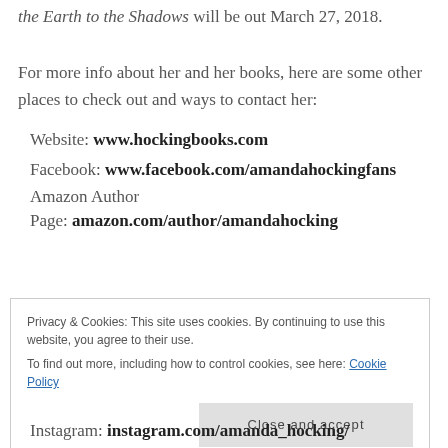the Earth to the Shadows will be out March 27, 2018.
For more info about her and her books, here are some other places to check out and ways to contact her:
Website: www.hockingbooks.com
Facebook: www.facebook.com/amandahockingfans
Amazon Author Page: amazon.com/author/amandahocking
Privacy & Cookies: This site uses cookies. By continuing to use this website, you agree to their use.
To find out more, including how to control cookies, see here: Cookie Policy
Close and accept
Instagram: instagram.com/amanda_hocking/